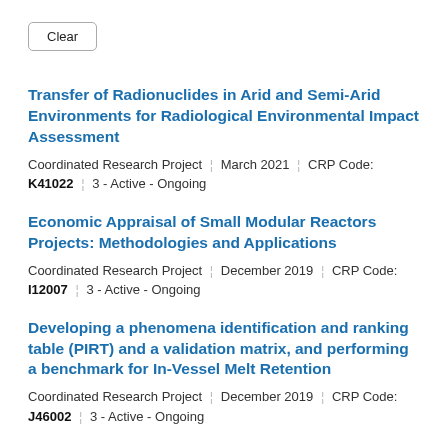Clear
Transfer of Radionuclides in Arid and Semi-Arid Environments for Radiological Environmental Impact Assessment
Coordinated Research Project | March 2021 | CRP Code: K41022 | 3 - Active - Ongoing
Economic Appraisal of Small Modular Reactors Projects: Methodologies and Applications
Coordinated Research Project | December 2019 | CRP Code: I12007 | 3 - Active - Ongoing
Developing a phenomena identification and ranking table (PIRT) and a validation matrix, and performing a benchmark for In-Vessel Melt Retention
Coordinated Research Project | December 2019 | CRP Code: J46002 | 3 - Active - Ongoing